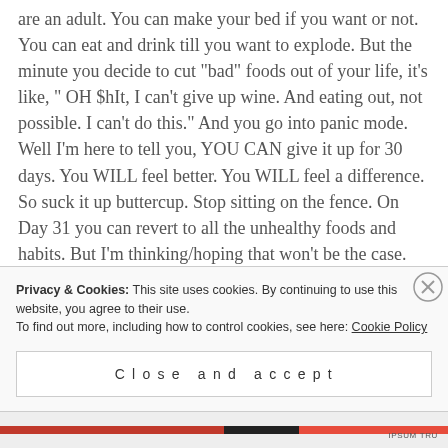are an adult. You can make your bed if you want or not. You can eat and drink till you want to explode. But the minute you decide to cut "bad" foods out of your life, it's like, " OH $hIt, I can't give up wine. And eating out, not possible. I can't do this." And you go into panic mode. Well I'm here to tell you, YOU CAN give it up for 30 days. You WILL feel better. You WILL feel a difference. So suck it up buttercup. Stop sitting on the fence. On Day 31 you can revert to all the unhealthy foods and habits. But I'm thinking/hoping that won't be the case. Hopefully, you'll see the forest through the trees! Don't forget, I'm here for
Privacy & Cookies: This site uses cookies. By continuing to use this website, you agree to their use.
To find out more, including how to control cookies, see here: Cookie Policy
Close and accept